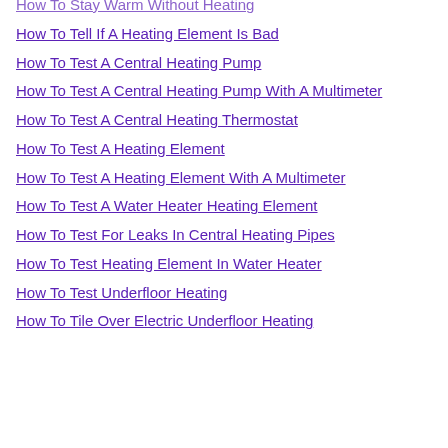How To Stay Warm Without Heating
How To Tell If A Heating Element Is Bad
How To Test A Central Heating Pump
How To Test A Central Heating Pump With A Multimeter
How To Test A Central Heating Thermostat
How To Test A Heating Element
How To Test A Heating Element With A Multimeter
How To Test A Water Heater Heating Element
How To Test For Leaks In Central Heating Pipes
How To Test Heating Element In Water Heater
How To Test Underfloor Heating
How To Tile Over Electric Underfloor Heating